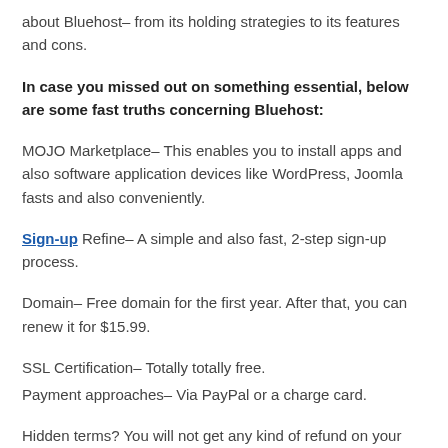about Bluehost– from its holding strategies to its features and cons.
In case you missed out on something essential, below are some fast truths concerning Bluehost:
MOJO Marketplace– This enables you to install apps and also software application devices like WordPress, Joomla fasts and also conveniently.
Sign-up Refine– A simple and also fast, 2-step sign-up process.
Domain– Free domain for the first year. After that, you can renew it for $15.99.
SSL Certification– Totally totally free.
Payment approaches– Via PayPal or a charge card.
Hidden terms? You will not get any kind of refund on your domain